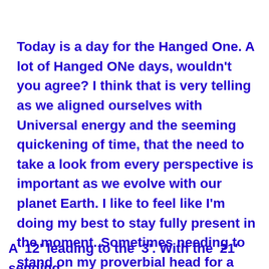Today is a day for the Hanged One. A lot of Hanged ONe days, wouldn't you agree?  I think that is very telling as we aligned ourselves with Universal energy and the seeming quickening of time, that the need to take a look from every perspective is important as we evolve with our planet Earth.  I like to feel like I'm doing my best to stay fully present in the moment. Sometimes needing to stand on my proverbial head for a new look see around me.  How's that for you?
A '12' leading to the '3'.  With the '21' sending